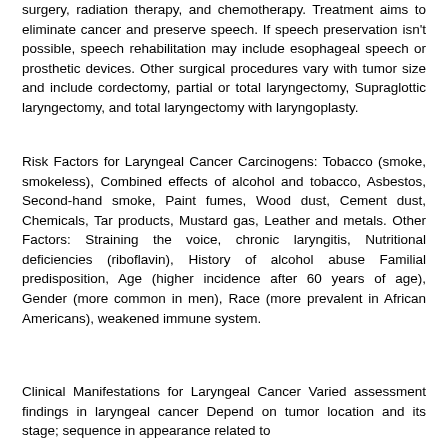surgery, radiation therapy, and chemotherapy. Treatment aims to eliminate cancer and preserve speech. If speech preservation isn't possible, speech rehabilitation may include esophageal speech or prosthetic devices. Other surgical procedures vary with tumor size and include cordectomy, partial or total laryngectomy, Supraglottic laryngectomy, and total laryngectomy with laryngoplasty.
Risk Factors for Laryngeal Cancer Carcinogens: Tobacco (smoke, smokeless), Combined effects of alcohol and tobacco, Asbestos, Second-hand smoke, Paint fumes, Wood dust, Cement dust, Chemicals, Tar products, Mustard gas, Leather and metals. Other Factors: Straining the voice, chronic laryngitis, Nutritional deficiencies (riboflavin), History of alcohol abuse Familial predisposition, Age (higher incidence after 60 years of age), Gender (more common in men), Race (more prevalent in African Americans), weakened immune system.
Clinical Manifestations for Laryngeal Cancer Varied assessment findings in laryngeal cancer Depend on tumor location and its stage; sequence in appearance related to